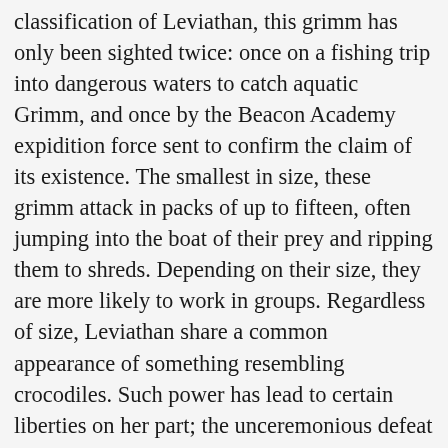classification of Leviathan, this grimm has only been sighted twice: once on a fishing trip into dangerous waters to catch aquatic Grimm, and once by the Beacon Academy expidition force sent to confirm the claim of its existence. The smallest in size, these grimm attack in packs of up to fifteen, often jumping into the boat of their prey and ripping them to shreds. Depending on their size, they are more likely to work in groups. Regardless of size, Leviathan share a common appearance of something resembling crocodiles. Such power has lead to certain liberties on her part; the unceremonious defeat of an archdemon before coupling with him is one of them. She looked pretty though. 5 Rubies give us an additional 7.8 meters which becomes 42.34 meters when added to the first tower. It can also exhale a stream of electric fire that is capable of blasting through Atlas force field technology and break structures off buildings, and it has tough skin that is resistant to missile blasts. In RWBY V4 E3 "Of